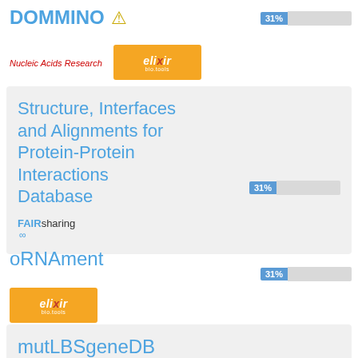DOMMINO ⚠
[Figure (infographic): Progress bar showing 31% with blue label and grey background bar]
[Figure (logo): Nucleic Acids Research text logo in red italic]
[Figure (logo): ELIXIR bio.tools orange badge logo]
Structure, Interfaces and Alignments for Protein-Protein Interactions Database
[Figure (infographic): Progress bar showing 31% with blue label and grey background bar]
[Figure (logo): FAIRsharing logo with infinity symbol]
oRNAment
[Figure (infographic): Progress bar showing 31% with blue label and grey background bar]
[Figure (logo): ELIXIR bio.tools orange badge logo]
mutLBSgeneDB